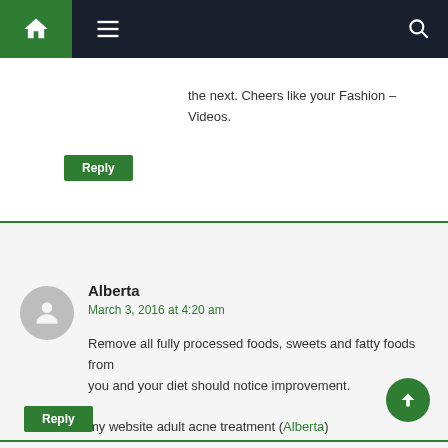Navigation bar with home, menu, and search icons
the next. Cheers like your Fashion – Videos.
Reply
Alberta
March 3, 2016 at 4:20 am
Remove all fully processed foods, sweets and fatty foods from you and your diet should notice improvement.

my website adult acne treatment (Alberta)
Reply